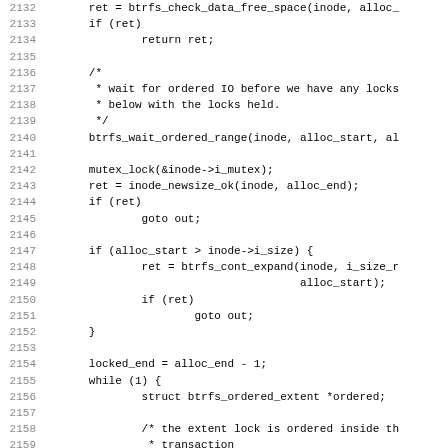[Figure (screenshot): Source code listing in monospace font showing C code lines 2132-2163 of a btrfs filesystem function involving data free space check, ordered IO wait, mutex lock, inode size check, btrfs_cont_expand, locked_end, while loop, and lock_extent_bits calls.]